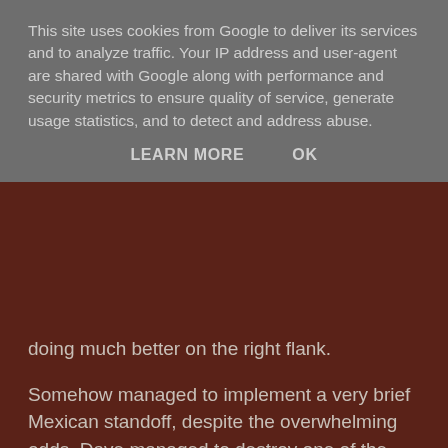This site uses cookies from Google to deliver its services and to analyze traffic. Your IP address and user-agent are shared with Google along with performance and security metrics to ensure quality of service, generate usage statistics, and to detect and address abuse.
LEARN MORE    OK
doing much better on the right flank.
Somehow managed to implement a very brief Mexican standoff, despite the overwhelming odds. Dave managed to destroy one of the factories on the right, and a couple of turns later, kamikazes his smaller craft to take out the remaining factory in that cluster.
Meanwhile one of my factories had been reduced down to one, but the attack had been seen off, with Matt's suicide squad not being very successful\too successful depending on your view point. I had some breathing space to repair the archology, before Matt's assault would begin again.